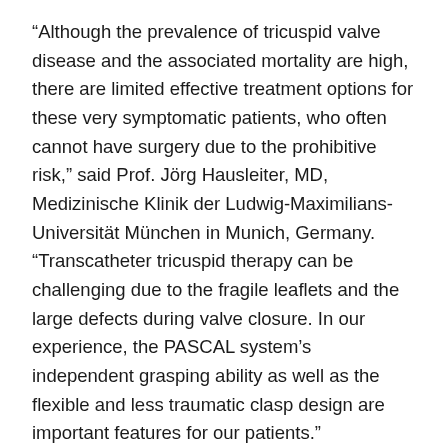“Although the prevalence of tricuspid valve disease and the associated mortality are high, there are limited effective treatment options for these very symptomatic patients, who often cannot have surgery due to the prohibitive risk,” said Prof. Jörg Hausleiter, MD, Medizinische Klinik der Ludwig-Maximilians-Universität München in Munich, Germany. “Transcatheter tricuspid therapy can be challenging due to the fragile leaflets and the large defects during valve closure. In our experience, the PASCAL system’s independent grasping ability as well as the flexible and less traumatic clasp design are important features for our patients.”
The PASCAL system is indicated in Europe for the percutaneous reconstruction of the tricuspid valve through leaflet repair by tissue approximation. The clasps and paddles gently grasp the leaflets to facilitate coaptation, while the spacer is designed to fill the regurgitant orifice area and